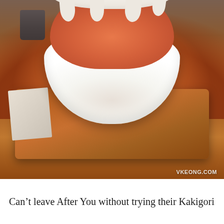[Figure (photo): Close-up photo of a Kakigori (Japanese shaved ice dessert) in a white bowl on a wooden tray. The shaved ice is orange/red colored and topped with white cream drizzling down the sides. A napkin is visible to the left, and a dark cup is in the background. The photo has a VKEONG.COM watermark in the bottom right corner.]
Can't leave After You without trying their Kakigori